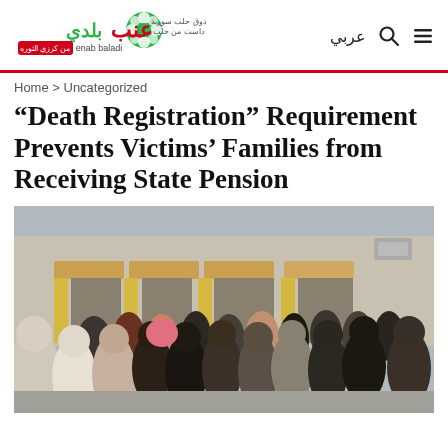[Figure (logo): Enab Baladi news website logo with Arabic text and tagline]
عربي
Home > Uncategorized
“Death Registration” Requirement Prevents Victims’ Families from Receiving State Pension
[Figure (photo): A crowd of people standing outside a building with storefronts and awnings, forming a queue or gathering on a city street.]